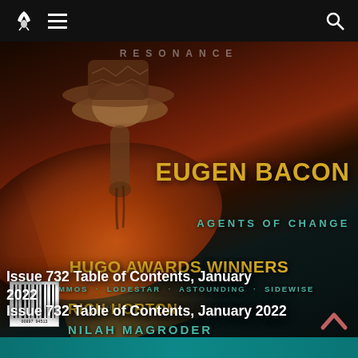[Figure (illustration): Science fiction magazine cover showing a spacecraft or alien figure hovering over a glowing planet, with dark space background. Text overlays include EUGEN BACON, AGENTS OF CHANGE, HUGO AWARDS WINNERS, NOMMOS · LODESTAR · ASTOUNDING · SIDEWISE, RICH HORTON, NILAH MAGRODER, and a barcode.]
Issue 732 Table of Contents, January 2022